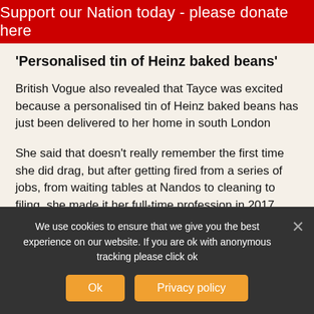Support our Nation today - please donate here
'Personalised tin of Heinz baked beans'
British Vogue also revealed that Tayce was excited because a personalised tin of Heinz baked beans has just been delivered to her home in south London
She said that doesn't really remember the first time she did drag, but after getting fired from a series of jobs, from waiting tables at Nandos to cleaning to filing, she made it her full-time profession in 2017.
We use cookies to ensure that we give you the best experience on our website. If you are ok with anonymous tracking please click ok